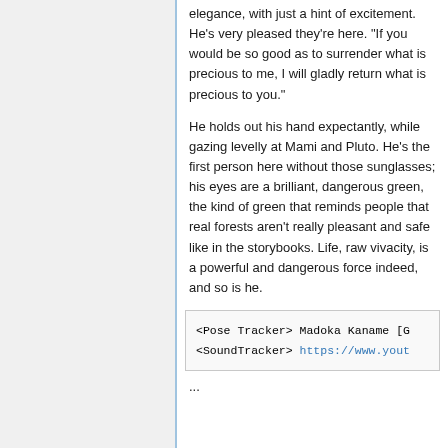elegance, with just a hint of excitement. He's very pleased they're here. "If you would be so good as to surrender what is precious to me, I will gladly return what is precious to you."
He holds out his hand expectantly, while gazing levelly at Mami and Pluto. He's the first person here without those sunglasses; his eyes are a brilliant, dangerous green, the kind of green that reminds people that real forests aren't really pleasant and safe like in the storybooks. Life, raw vivacity, is a powerful and dangerous force indeed, and so is he.
<Pose Tracker> Madoka Kaname [G
<SoundTracker> https://www.yout
...